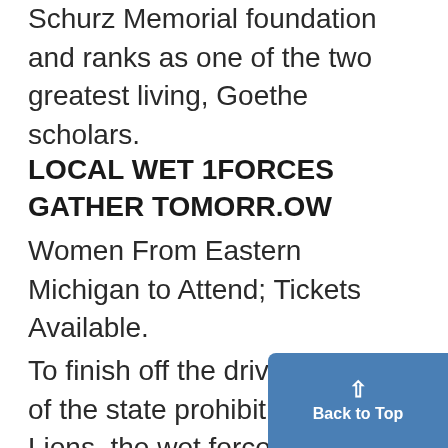Schurz Memorial foundation and ranks as one of the two greatest living, Goethe scholars.
LOCAL WET 1FORCES GATHER TOMORR.OW
Women From Eastern Michigan to Attend; Tickets Available.
To finish off the drive for repeal of the state prohibition act. peti-Lions, the wet forces of Ann Arbor, both students and townspeople, will meet at 2 o'clock tomorrow in t ballroom/of the League where
[Figure (other): Blue 'Back to Top' button with upward arrow in bottom-right corner]